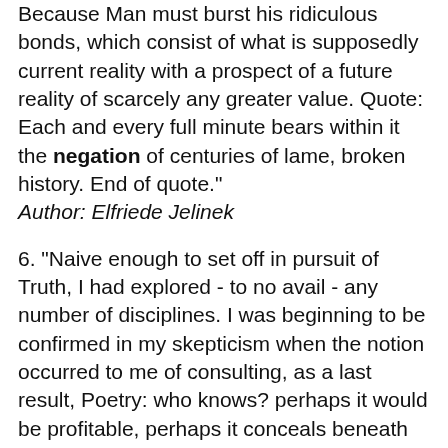Because Man must burst his ridiculous bonds, which consist of what is supposedly current reality with a prospect of a future reality of scarcely any greater value. Quote: Each and every full minute bears within it the negation of centuries of lame, broken history. End of quote."
Author: Elfriede Jelinek
6. "Naive enough to set off in pursuit of Truth, I had explored - to no avail - any number of disciplines. I was beginning to be confirmed in my skepticism when the notion occurred to me of consulting, as a last result, Poetry: who knows? perhaps it would be profitable, perhaps it conceals beneath its arbitrary appearances some definitive revelation ... Illusory recourse! Poetry had outstripped be in negation and cost me even my uncertainties ..."
Author: Emil Cioran
7. "It is this outer reach of existential